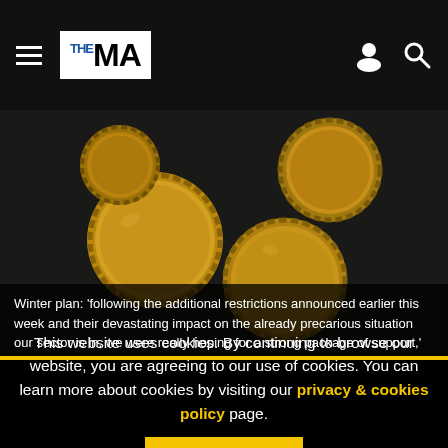THE MA — navigation header with menu, logo, user icon, search icon
[Figure (photo): Overhead view of several golden metallic bottle caps scattered on a dark background]
Winter plan: 'following the additional restrictions announced earlier this week and their devastating impact on the already precarious situation our sector is in, we were really hoping for a strong package of support,'
This website uses cookies. By continuing to browse our website, you are agreeing to our use of cookies. You can learn more about cookies by visiting our privacy & cookies policy page.
I Agree